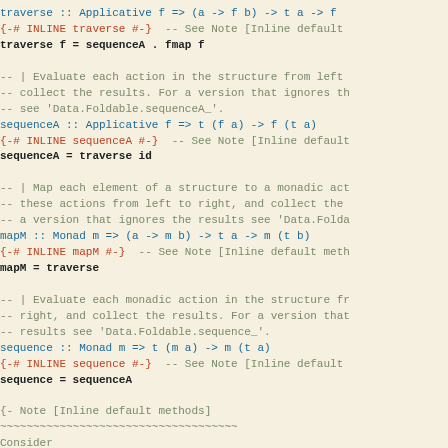traverse :: Applicative f => (a -> f b) -> t a -> f (t
{-# INLINE traverse #-}  -- See Note [Inline default
traverse f = sequenceA . fmap f

-- | Evaluate each action in the structure from left
-- collect the results. For a version that ignores th
-- see 'Data.Foldable.sequenceA_'.
sequenceA :: Applicative f => t (f a) -> f (t a)
{-# INLINE sequenceA #-}  -- See Note [Inline default
sequenceA = traverse id

-- | Map each element of a structure to a monadic act
-- these actions from left to right, and collect the
-- a version that ignores the results see 'Data.Folda
mapM :: Monad m => (a -> m b) -> t a -> m (t b)
{-# INLINE mapM #-}  -- See Note [Inline default meth
mapM = traverse

-- | Evaluate each monadic action in the structure fr
-- right, and collect the results. For a version that
-- results see 'Data.Foldable.sequence_'.
sequence :: Monad m => t (m a) -> m (t a)
{-# INLINE sequence #-}  -- See Note [Inline default
sequence = sequenceA

{- Note [Inline default methods]
~~~~~~~~~~~~~~~~~~~~~~~~~~~~~~~~~~~~
Consider

    class ... => Traversable t where